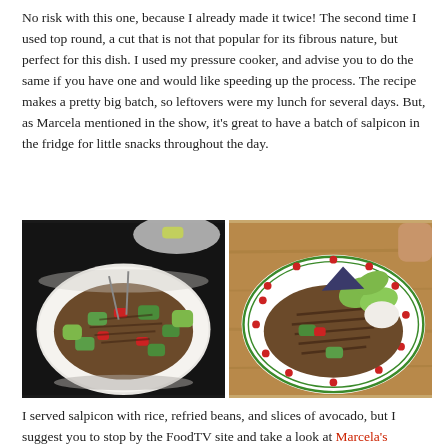No risk with this one, because I already made it twice! The second time I used top round, a cut that is not that popular for its fibrous nature, but perfect for this dish. I used my pressure cooker, and advise you to do the same if you have one and would like speeding up the process. The recipe makes a pretty big batch, so leftovers were my lunch for several days. But, as Marcela mentioned in the show, it's great to have a batch of salpicon in the fridge for little snacks throughout the day.
[Figure (photo): Two food photos side by side: left shows a white bowl with salpicon (shredded beef salad with cucumber, tomato, avocado); right shows a decorative plate with salpicon served with avocado slices, a blue tortilla chip, and sour cream.]
I served salpicon with rice, refried beans, and slices of avocado, but I suggest you to stop by the FoodTV site and take a look at Marcela's Tostadas.